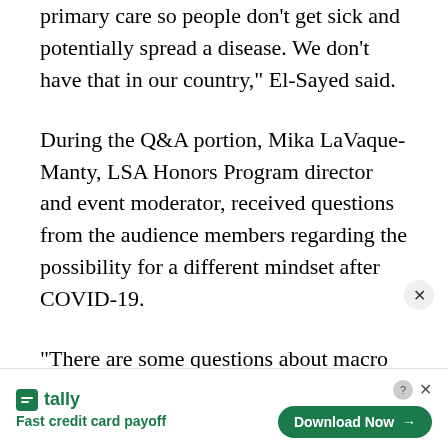primary care so people don't get sick and potentially spread a disease. We don't have that in our country," El-Sayed said.
During the Q&A portion, Mika LaVaque-Manty, LSA Honors Program director and event moderator, received questions from the audience members regarding the possibility for a different mindset after COVID-19.
“There are some questions about macro social forces in public health, and questions about how we might — as a country, as states, as societies — incentivize and focus on
Tally — Fast credit card payoff. Download Now.